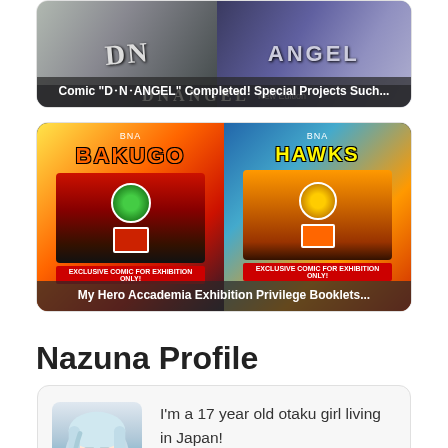[Figure (illustration): Comic card for D.N.ANGEL with manga artwork showing characters, with overlay text 'Comic "D•N•ANGEL" Completed! Special Projects Such...']
[Figure (illustration): My Hero Academia exhibition privilege booklets card showing Bakugo and Hawks comic-style panels, with overlay text 'My Hero Accademia Exhibition Privilege Booklets...']
Nazuna Profile
[Figure (illustration): Profile card with anime avatar of a girl with white/blue hair and glasses, and text: I'm a 17 year old otaku girl living in Japan!]